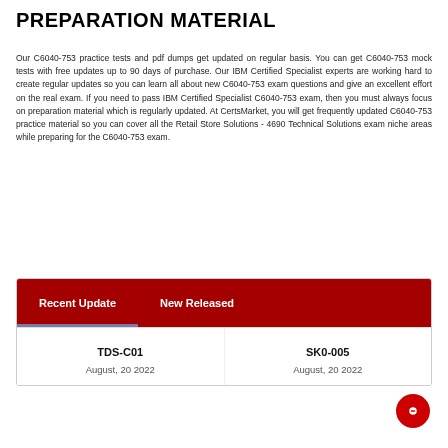PREPARATION MATERIAL
Our C6040-753 practice tests and pdf dumps get updated on regular basis. You can get C6040-753 mock tests with free updates up to 90 days of purchase. Our IBM Certified Specialist experts are working hard to create regular updates so you can learn all about new C6040-753 exam questions and give an excellent effort on the real exam. If you need to pass IBM Certified Specialist C6040-753 exam, then you must always focus on preparation material which is regularly updated. At CertsMarket, you will get frequently updated C6040-753 practice material so you can cover all the Retail Store Solutions - 4690 Technical Solutions exam niche areas while preparing for the C6040-753 exam.
| Recent Update | New Released |
| --- | --- |
| TDS-C01
August, 20 2022 | SK0-005
August, 20 2022 |